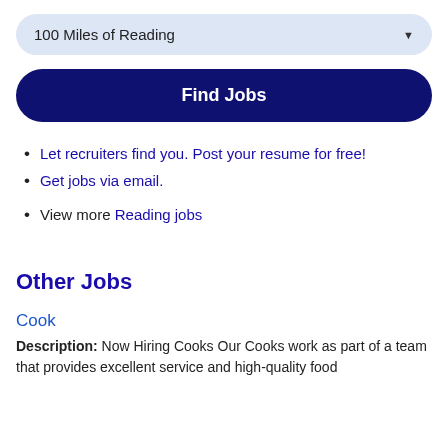100 Miles of Reading
Find Jobs
Let recruiters find you. Post your resume for free!
Get jobs via email.
View more Reading jobs
Other Jobs
Cook
Description: Now Hiring Cooks Our Cooks work as part of a team that provides excellent service and high-quality food